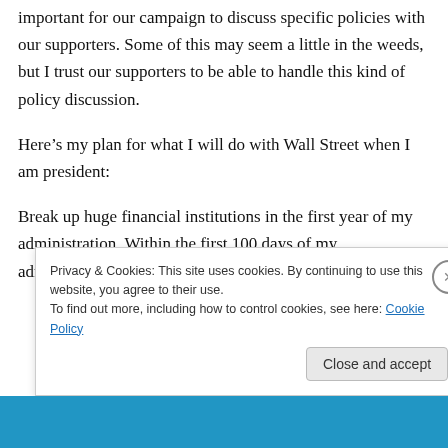important for our campaign to discuss specific policies with our supporters. Some of this may seem a little in the weeds, but I trust our supporters to be able to handle this kind of policy discussion.
Here’s my plan for what I will do with Wall Street when I am president:
Break up huge financial institutions in the first year of my administration. Within the first 100 days of my administration, I will require the
Privacy & Cookies: This site uses cookies. By continuing to use this website, you agree to their use.
To find out more, including how to control cookies, see here: Cookie Policy
Close and accept